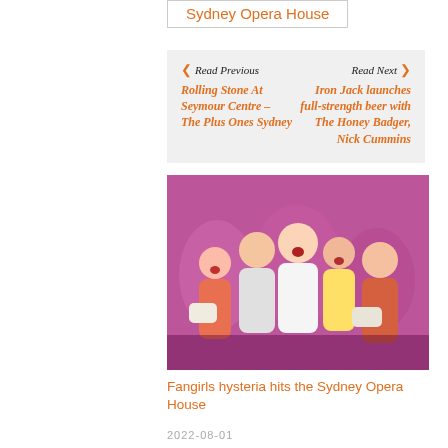Sydney Opera House
◀ Read Previous
Rolling Stone At Seymour Centre – The Plus Ones Sydney
Read Next ▶
Iron Jack launches full-strength beer with The Honey Badger, Nick Cummins
[Figure (photo): Group of performers on stage, singing and celebrating with pink/magenta backdrop at Sydney Opera House Fangirls production]
Fangirls hysteria hits the Sydney Opera House
2022-08-01